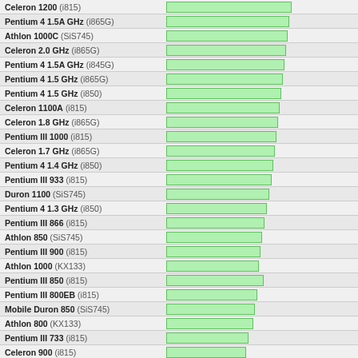[Figure (bar-chart): CPU Benchmark Chart]